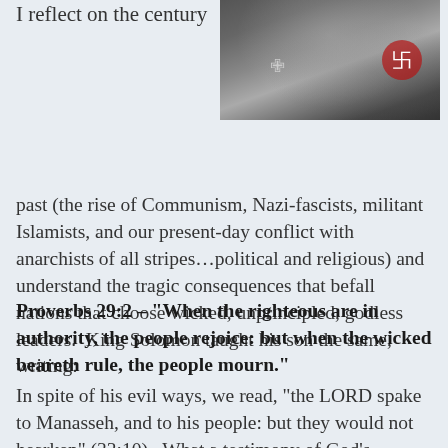[Figure (photo): Black and white photograph of a Nazi military officer in uniform with an Iron Cross and swastika armband visible]
I reflect on the century past (the rise of Communism, Nazi-fascists, militant Islamists, and our present-day conflict with anarchists of all stripes...political and religious) and understand the tragic consequences that befall nations that choose wicked, unprincipled, godless leaders.  King Solomon taught his son the same, writing:
Proverbs 29:2 – "When the righteous are in authority, the people rejoice: but when the wicked beareth rule, the people mourn."
In spite of his evil ways, we read, “the LORD spake to Manasseh, and to his people: but they would not hearken” (33:10).  What a testimony of God’s patience and longing to forgive and restore His people!  Being reminded God’s